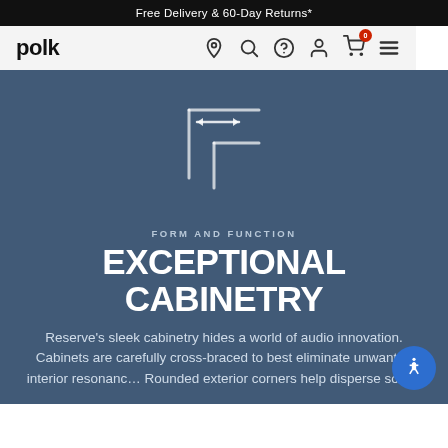Free Delivery & 60-Day Returns*
[Figure (logo): Polk audio brand logo - text 'polk' in bold black sans-serif]
[Figure (illustration): Navigation icons: location pin, search, help/question, user account, shopping cart with badge '0', hamburger menu]
[Figure (illustration): Decorative icon showing nested corner bracket shapes with a horizontal double-headed arrow indicating width measurement]
FORM AND FUNCTION
EXCEPTIONAL CABINETRY
Reserve's sleek cabinetry hides a world of audio innovation. Cabinets are carefully cross-braced to best eliminate unwanted interior resonanc... Rounded exterior corners help disperse sound